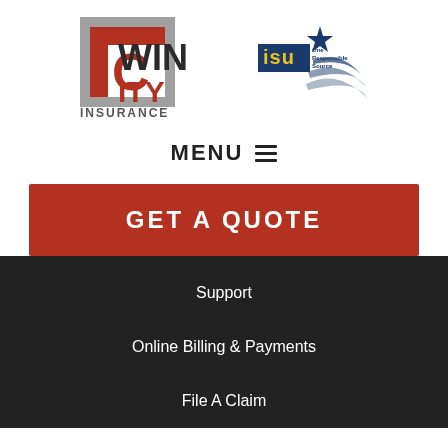[Figure (logo): Twin City Insurance logo with red and gray block letters TC and INSURANCE text below]
[Figure (logo): ISU One Responsible Source logo with star and swoosh graphic]
MENU ≡
GET A QUOTE
Support
Online Billing & Payments
File A Claim